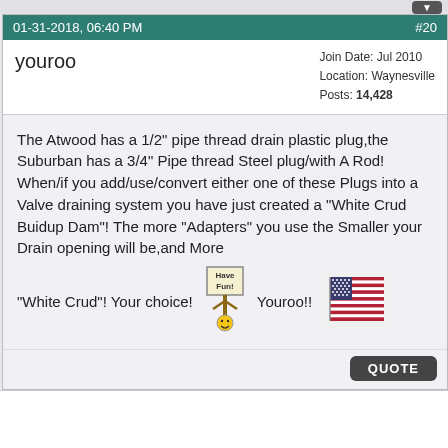01-31-2018, 06:40 PM  #20
youroo
Join Date: Jul 2010
Location: Waynesville
Posts: 14,428
The Atwood has a 1/2" pipe thread drain plastic plug,the Suburban has a 3/4" Pipe thread Steel plug/with A Rod! When/if you add/use/convert either one of these Plugs into a Valve draining system you have just created a "White Crud Buidup Dam"! The more "Adapters" you use the Smaller your Drain opening will be,and More "White Crud"! Your choice! Youroo!!